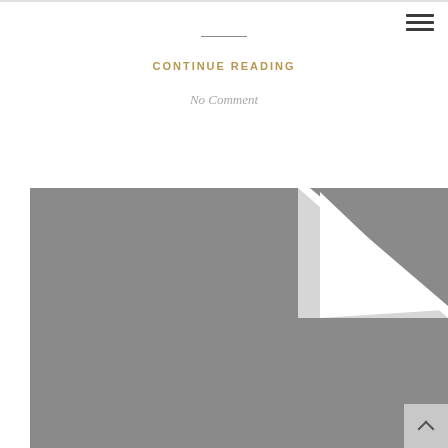CONTINUE READING
No Comment
[Figure (photo): Gray placeholder image with a folded corner effect showing a white triangular fold in the upper right area of the image.]